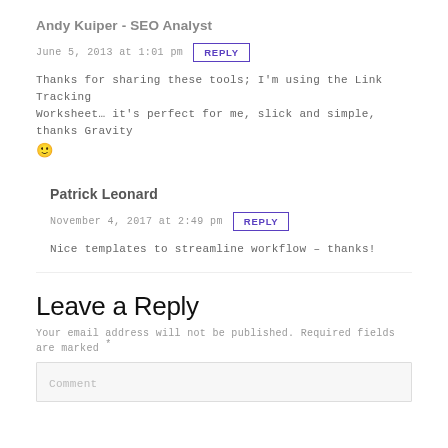Andy Kuiper - SEO Analyst
June 5, 2013 at 1:01 pm  REPLY
Thanks for sharing these tools; I'm using the Link Tracking Worksheet… it's perfect for me, slick and simple, thanks Gravity 🙂
Patrick Leonard
November 4, 2017 at 2:49 pm  REPLY
Nice templates to streamline workflow – thanks!
Leave a Reply
Your email address will not be published. Required fields are marked *
Comment